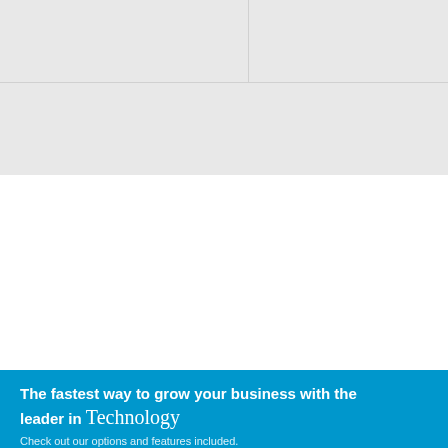[Figure (other): Gray placeholder image area at the top of the page, divided by a vertical and horizontal light gray grid line]
The fastest way to grow your business with the leader in Technology
Check out our options and features included.